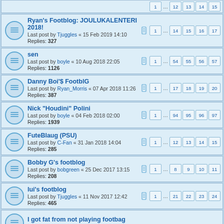Ryan's Footblog: JOULUKALENTERI 2018! | Last post by Tjuggles « 15 Feb 2019 14:10 | Replies: 327 | Pages: 1 ... 14 15 16 17
sen | Last post by boyle « 10 Aug 2018 22:05 | Replies: 1126 | Pages: 1 ... 54 55 56 57
Danny Boi'$ FootblG | Last post by Ryan_Morris « 07 Apr 2018 11:26 | Replies: 387 | Pages: 1 ... 17 18 19 20
Nick "Houdini" Polini | Last post by boyle « 04 Feb 2018 02:00 | Replies: 1939 | Pages: 1 ... 94 95 96 97
FuteBlaug (PSU) | Last post by C-Fan « 31 Jan 2018 14:04 | Replies: 285 | Pages: 1 ... 12 13 14 15
Bobby G's footblog | Last post by bobgreen « 25 Dec 2017 13:15 | Replies: 208 | Pages: 1 ... 8 9 10 11
lui's footblog | Last post by Tjuggles « 11 Nov 2017 12:42 | Replies: 465 | Pages: 1 ... 21 22 23 24
I got fat from not playing footbag | Last post by habitat « 30 Aug 2017 16:53